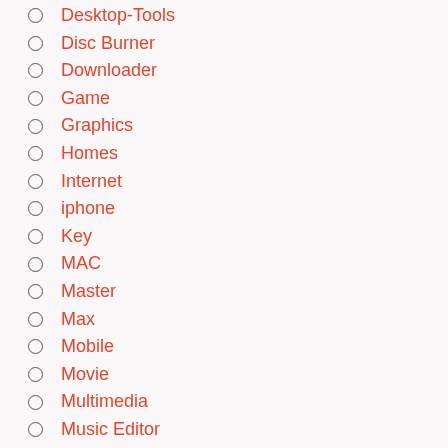Desktop-Tools
Disc Burner
Downloader
Game
Graphics
Homes
Internet
iphone
Key
MAC
Master
Max
Mobile
Movie
Multimedia
Music Editor